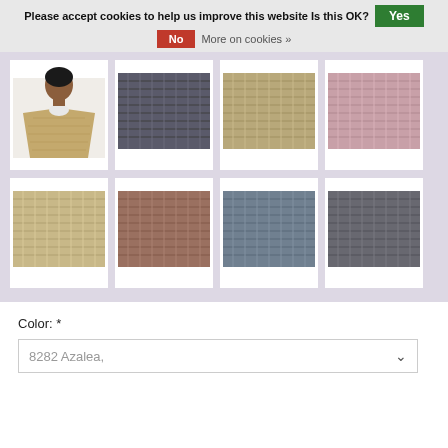Please accept cookies to help us improve this website Is this OK?   Yes   No   More on cookies »
[Figure (photo): E-commerce product page showing a grid of 8 yarn/fabric swatches and one model photo wearing a knitted shawl, with a cookie consent banner at the top and a color selector dropdown at the bottom reading '8282 Azalea,']